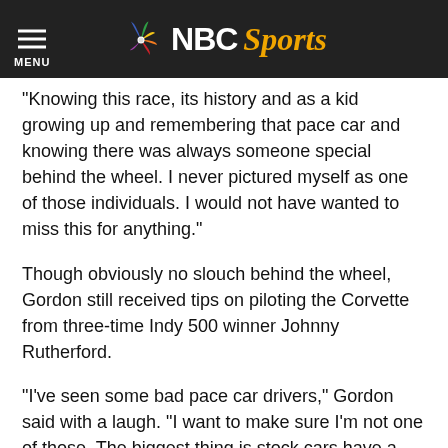NBC Sports
“Knowing this race, its history and as a kid growing up and remembering that pace car and knowing there was always someone special behind the wheel. I never pictured myself as one of those individuals. I would not have wanted to miss this for anything.”
Though obviously no slouch behind the wheel, Gordon still received tips on piloting the Corvette from three-time Indy 500 winner Johnny Rutherford.
“I’ve seen some bad pace car drivers,” Gordon said with a laugh. “I want to make sure I’m not one of those. The biggest thing is stock cars have a certain pace, transmission that we’re able to run any speed fairly easily. These cars aren’t like that. They’re more temperamental when it comes to clutch and transmission.
“The biggest thing is making sure I get up to speed and...